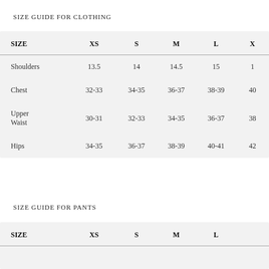SIZE GUIDE FOR CLOTHING
| SIZE | XS | S | M | L | X |
| --- | --- | --- | --- | --- | --- |
| Shoulders | 13.5 | 14 | 14.5 | 15 | 1 |
| Chest | 32-33 | 34-35 | 36-37 | 38-39 | 40 |
| Upper Waist | 30-31 | 32-33 | 34-35 | 36-37 | 38 |
| Hips | 34-35 | 36-37 | 38-39 | 40-41 | 42 |
SIZE GUIDE FOR PANTS
| SIZE | XS | S | M | L |  |
| --- | --- | --- | --- | --- | --- |